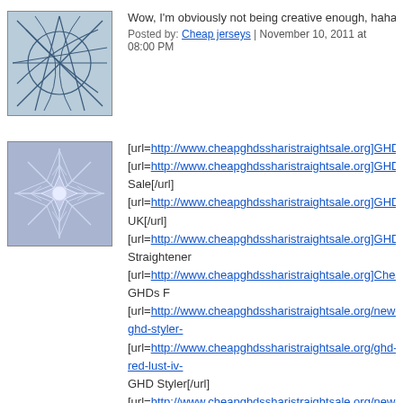[Figure (illustration): Avatar image with abstract geometric lines on blue-grey background]
Wow, I'm obviously not being creative enough, haha…Great wo
Posted by: Cheap jerseys | November 10, 2011 at 08:00 PM
[Figure (illustration): Avatar image with geometric star/snowflake pattern on blue-purple background]
[url=http://www.cheapghdssharistraightsale.org]GHDs[/url] [url=http://www.cheapghdssharistraightsale.org]GHD Sale[/url] [url=http://www.cheapghdssharistraightsale.org]GHD UK[/url] [url=http://www.cheapghdssharistraightsale.org]GHD Straightener [url=http://www.cheapghdssharistraightsale.org]Cheap GHDs F [url=http://www.cheapghdssharistraightsale.org/new-ghd-styler- [url=http://www.cheapghdssharistraightsale.org/ghd-red-lust-iv- GHD Styler[/url] [url=http://www.cheapghdssharistraightsale.org/new-ghd-green- 67.html]New GHD Green Envy IV Styler Hair Straighteners But [/url] [url=http://www.cheapghdssharistraightsale.org/new-ghd-blue-s 64.html]New GHD Blue Serenity IV Styler Hair Straighteners[/u [url=http://www.cheapghdssharistraightsale.org/new-ghd-purple 66.html]New GHD Purple Indulgence IV Styler Hair Straightene [url=http://www.cheapghdssharistraightsale.org/new-ghd-midnig 73.html]New GHD Midnight Black Collection Gift Sets Hair Stra [url=http://www.cheapghdssharistraightsale.org/ghd-midnight-de 1.html]GHD Midnight Deluxe Collection Gift Sets New IV Straig [url=http://www.cheapghdssharistraightsale.org/new-ghd-gold-s Gold Straighteners Hair Styler[/url] [url=http://www.cheapghdssharistraightsale.org/new-pink-ghd-b